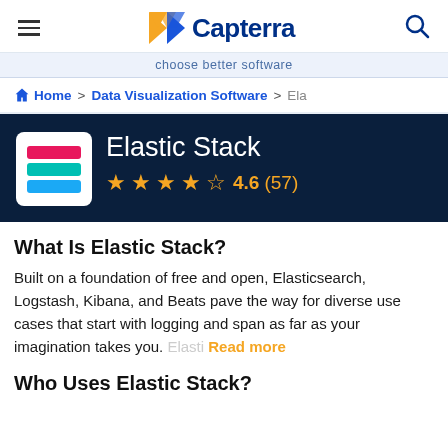Capterra — choose better software
Home > Data Visualization Software > Ela
Elastic Stack
4.6 (57)
What Is Elastic Stack?
Built on a foundation of free and open, Elasticsearch, Logstash, Kibana, and Beats pave the way for diverse use cases that start with logging and span as far as your imagination takes you. Elasti Read more
Who Uses Elastic Stack?